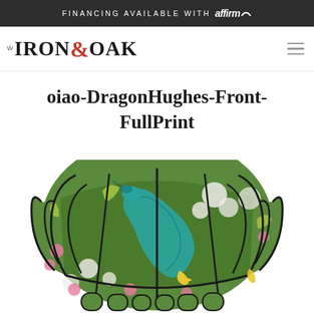FINANCING AVAILABLE WITH affirm
[Figure (logo): Iron & Oak logo with hamburger menu icon]
oiao-DragonHughes-Front-FullPrint
[Figure (photo): Front view of a wingback chair upholstered with a vibrant dragon and floral print fabric featuring a green background with pink, teal, yellow, and white botanical and dragon motifs. The chair has dark iron/black outlined paneling sections visible on the upholstery.]